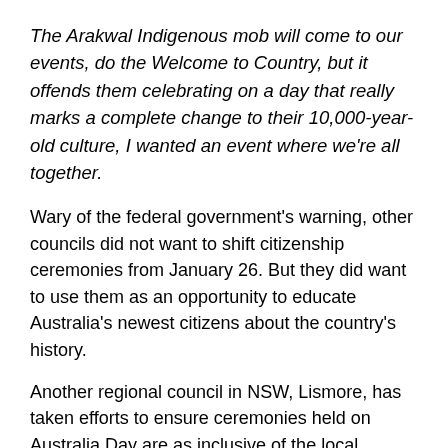The Arakwal Indigenous mob will come to our events, do the Welcome to Country, but it offends them celebrating on a day that really marks a complete change to their 10,000-year-old culture, I wanted an event where we're all together.
Wary of the federal government's warning, other councils did not want to shift citizenship ceremonies from January 26. But they did want to use them as an opportunity to educate Australia's newest citizens about the country's history.
Another regional council in NSW, Lismore, has taken efforts to ensure ceremonies held on Australia Day are as inclusive of the local Aboriginal community as possible. And they never refer to the events as a “celebration”.